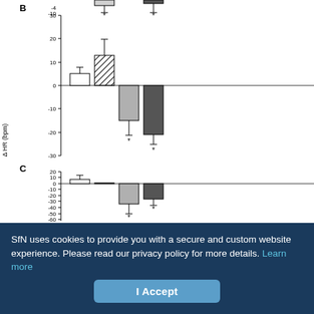[Figure (grouped-bar-chart): Partial view of grouped bar charts. Panel B shows delta HR (bpm) with bars for 4 conditions. Panel C shows delta % LSNA with bars for 4 conditions. Error bars shown. Asterisks denote statistical significance.]
SfN uses cookies to provide you with a secure and custom website experience. Please read our privacy policy for more details. Learn more